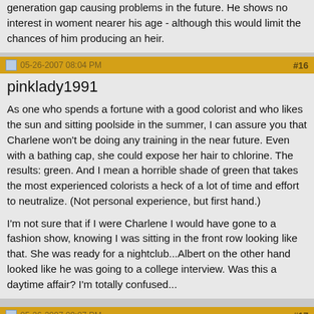generation gap causing problems in the future. He shows no interest in woment nearer his age - although this would limit the chances of him producing an heir.
05-26-2007 08:04 PM | #16
pinklady1991
As one who spends a fortune with a good colorist and who likes the sun and sitting poolside in the summer, I can assure you that Charlene won't be doing any training in the near future. Even with a bathing cap, she could expose her hair to chlorine. The results: green. And I mean a horrible shade of green that takes the most experienced colorists a heck of a lot of time and effort to neutralize. (Not personal experience, but first hand.)

I'm not sure that if I were Charlene I would have gone to a fashion show, knowing I was sitting in the front row looking like that. She was ready for a nightclub...Albert on the other hand looked like he was going to a college interview. Was this a daytime affair? I'm totally confused...
05-26-2007 09:07 PM | #17
brother